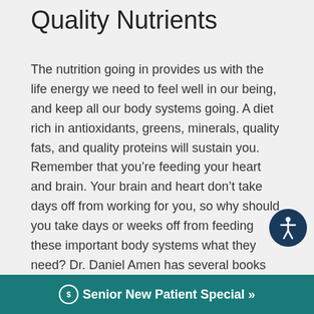Quality Nutrients
The nutrition going in provides us with the life energy we need to feel well in our being, and keep all our body systems going. A diet rich in antioxidants, greens, minerals, quality fats, and quality proteins will sustain you. Remember that you're feeding your heart and brain. Your brain and heart don't take days off from working for you, so why should you take days or weeks off from feeding these important body systems what they need? Dr. Daniel Amen has several books out there about Brain Health that includes “food for the b... a...
$ Senior New Patient Special »